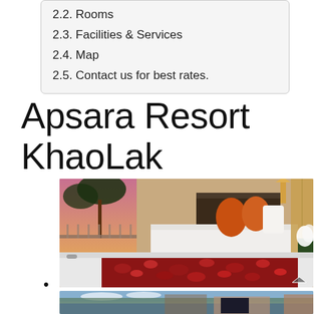2.2. Rooms
2.3. Facilities & Services
2.4. Map
2.5. Contact us for best rates.
Apsara Resort KhaoLak
[Figure (photo): Hotel room interior with white bed, orange pillows, balcony with palm trees, and a bathtub with rose petals in foreground]
[Figure (photo): Hotel exterior or lobby area with outdoor seating and tropical decor]